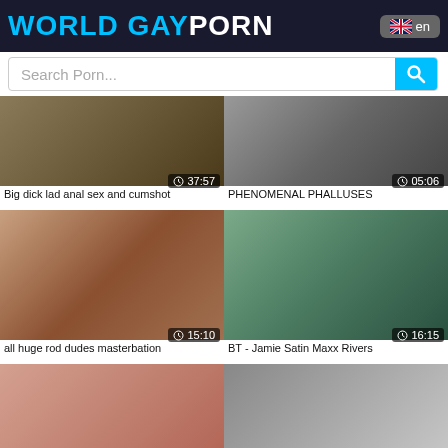WORLD GAY PORN
Search Porn...
[Figure (screenshot): Video thumbnail with duration 37:57]
Big dick lad anal sex and cumshot
[Figure (screenshot): Video thumbnail with duration 05:06]
PHENOMENAL PHALLUSES
[Figure (screenshot): Video thumbnail with duration 15:10]
all huge rod dudes masterbation
[Figure (screenshot): Video thumbnail with duration 16:15]
BT - Jamie Satin Maxx Rivers
[Figure (screenshot): Video thumbnail with duration 04:53]
Close up cock have fun!
[Figure (screenshot): Video thumbnail with duration 12:44]
Hot public jizz shot for horny gay